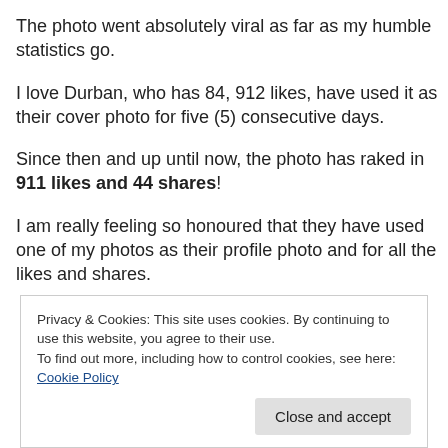The photo went absolutely viral as far as my humble statistics go.
I love Durban, who has 84, 912 likes, have used it as their cover photo for five (5) consecutive days.
Since then and up until now, the photo has raked in 911 likes and 44 shares!
I am really feeling so honoured that they have used one of my photos as their profile photo and for all the likes and shares.
Privacy & Cookies: This site uses cookies. By continuing to use this website, you agree to their use.
To find out more, including how to control cookies, see here: Cookie Policy
Close and accept